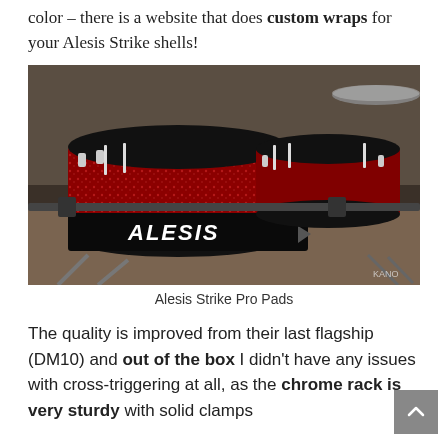color – there is a website that does custom wraps for your Alesis Strike shells!
[Figure (photo): Photo of Alesis Strike Pro drum pads — red sparkle finish toms on a chrome rack with a prominent black Alesis logo badge in the foreground]
Alesis Strike Pro Pads
The quality is improved from their last flagship (DM10) and out of the box I didn't have any issues with cross-triggering at all, as the chrome rack is very sturdy with solid clamps